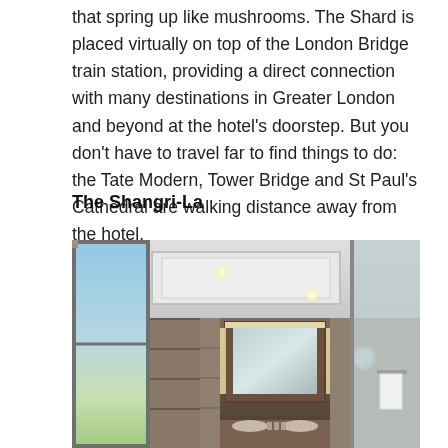that spring up like mushrooms. The Shard is placed virtually on top of the London Bridge train station, providing a direct connection with many destinations in Greater London and beyond at the hotel's doorstep. But you don't have to travel far to find things to do: the Tate Modern, Tower Bridge and St Paul's Cathedral are walking distance away from the hotel.
The Shangri-La
[Figure (photo): Interior photograph of a luxury hotel bathroom at The Shangri-La, showing a spacious bathroom with coffered ceiling, large illuminated mirror above a wooden vanity, marble-tiled walls, a floor-to-ceiling window with city views on the left, and a glass shower enclosure on the right.]